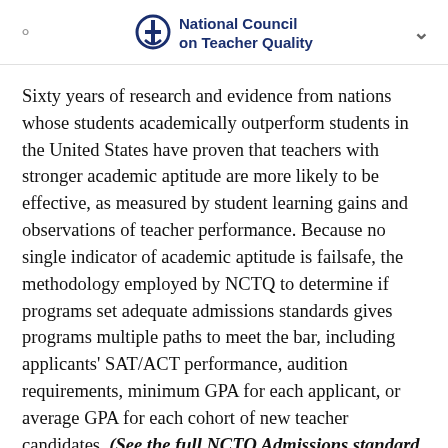National Council on Teacher Quality
Sixty years of research and evidence from nations whose students academically outperform students in the United States have proven that teachers with stronger academic aptitude are more likely to be effective, as measured by student learning gains and observations of teacher performance. Because no single indicator of academic aptitude is failsafe, the methodology employed by NCTQ to determine if programs set adequate admissions standards gives programs multiple paths to meet the bar, including applicants' SAT/ACT performance, audition requirements, minimum GPA for each applicant, or average GPA for each cohort of new teacher candidates. (See the full NCTQ Admissions standard methodology here.)